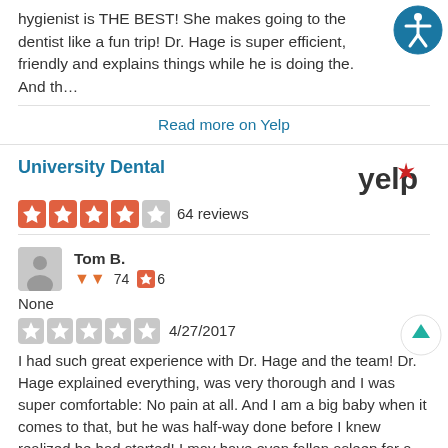hygienist is THE BEST! She makes going to the dentist like a fun trip! Dr. Hage is super efficient, friendly and explains things while he is doing the. And th…
[Figure (other): Blue accessibility icon (person in circle)]
Read more on Yelp
University Dental
[Figure (other): Yelp logo with red burst]
[Figure (other): 4 red filled stars and 1 grey star rating, 64 reviews]
Tom B.
[Figure (other): Avatar placeholder silhouette]
74  6
None
[Figure (other): 5 grey star rating icons with date 4/27/2017]
4/27/2017
I had such great experience with Dr. Hage and the team! Dr. Hage explained everything, was very thorough and I was super comfortable: No pain at all. And I am a big baby when it comes to that, but he was half-way done before I knew realized he had started! I may have even fallen asleep for a litt…
[Figure (other): Teal/cyan scroll-to-top arrow icon]